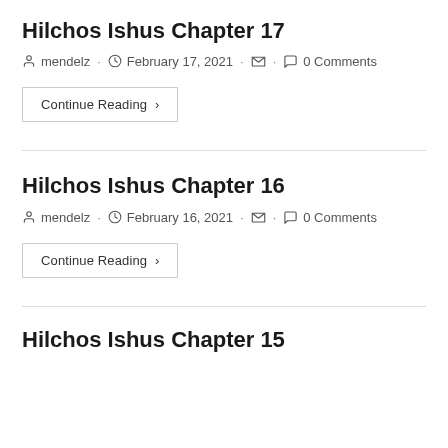Hilchos Ishus Chapter 17
mendelz · February 17, 2021 · 0 Comments
Continue Reading ›
Hilchos Ishus Chapter 16
mendelz · February 16, 2021 · 0 Comments
Continue Reading ›
Hilchos Ishus Chapter 15